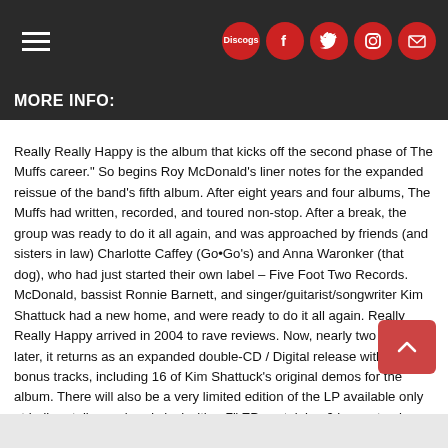MORE INFO:
Really Really Happy is the album that kicks off the second phase of The Muffs career." So begins Roy McDonald's liner notes for the expanded reissue of the band's fifth album. After eight years and four albums, The Muffs had written, recorded, and toured non-stop. After a break, the group was ready to do it all again, and was approached by friends (and sisters in law) Charlotte Caffey (Go•Go's) and Anna Waronker (that dog), who had just started their own label – Five Foot Two Records. McDonald, bassist Ronnie Barnett, and singer/guitarist/songwriter Kim Shattuck had a new home, and were ready to do it all again. Really Really Happy arrived in 2004 to rave reviews. Now, nearly two decades later, it returns as an expanded double-CD / Digital release with 22 bonus tracks, including 16 of Kim Shattuck's original demos for the album. There will also be a very limited edition of the LP available only at indie retail on colored vinyl with a 7" EP containing 6 bonus tracks, with a sleeve hand-stamped by Ronnie.